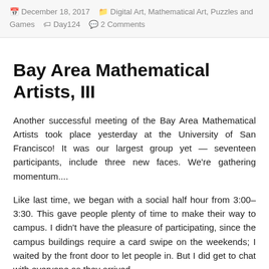December 18, 2017   Digital Art, Mathematical Art, Puzzles and Games   Day124   2 Comments
Bay Area Mathematical Artists, III
Another successful meeting of the Bay Area Mathematical Artists took place yesterday at the University of San Francisco!  It was our largest group yet — seventeen participants, include three new faces.  We're gathering momentum....
Like last time, we began with a social half hour from 3:00–3:30.  This gave people plenty of time to make their way to campus.  I didn't have the pleasure of participating, since the campus buildings require a card swipe on the weekends; I waited by the front door to let people in.  But I did get to chat with everyone as they arrived.